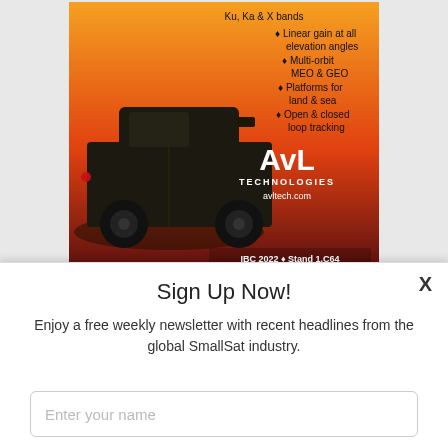[Figure (illustration): AvL Technologies advertisement showing a military vehicle (HMMWV/Humvee) against an orange-red gradient background with bullet points listing product features: Ku, Ka & X bands, Linear gain at all elevation angles, Multi-orbit MEO & GEO, Platforms for land & sea, Open & closed loop tracking. AvL TECHNOLOGIES logo and avltech.com URL shown. IBC 2022 + Stand 1.C64 displayed at bottom.]
Sign Up Now!
Enjoy a free weekly newsletter with recent headlines from the global SmallSat industry.